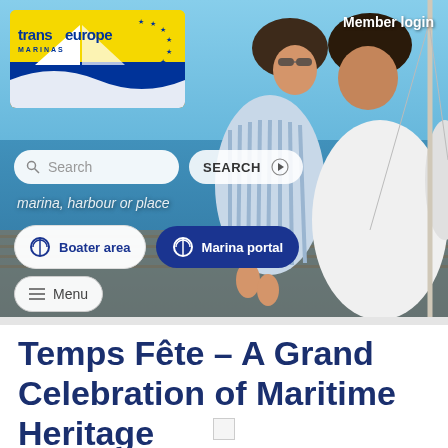[Figure (screenshot): Transeurope Marinas website header with logo, couple on sailboat background, search bar, Boater area and Marina portal buttons, and menu button]
Temps Fête – A Grand Celebration of Maritime Heritage